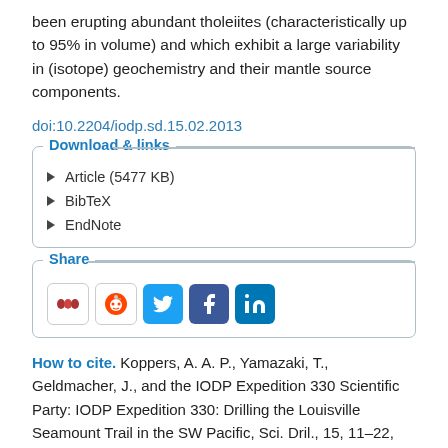been erupting abundant tholeiites (characteristically up to 95% in volume) and which exhibit a large variability in (isotope) geochemistry and their mantle source components.
doi:10.2204/iodp.sd.15.02.2013
Download & links
Article (5477 KB)
BibTeX
EndNote
Share
[Figure (infographic): Social sharing buttons: Mendeley, Reddit, Twitter, Facebook, LinkedIn]
How to cite. Koppers, A. A. P., Yamazaki, T., Geldmacher, J., and the IODP Expedition 330 Scientific Party: IODP Expedition 330: Drilling the Louisville Seamount Trail in the SW Pacific, Sci. Dril., 15, 11–22,